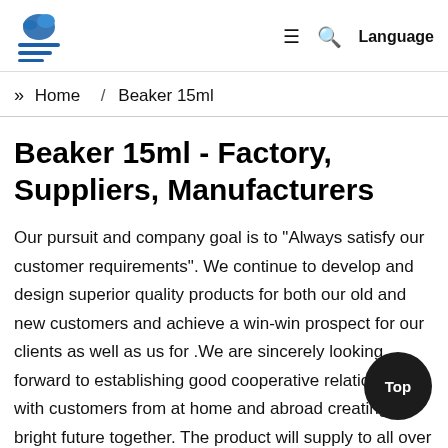Logo / Home / Beaker 15ml — Language
» Home / Beaker 15ml
Beaker 15ml - Factory, Suppliers, Manufacturers
Our pursuit and company goal is to "Always satisfy our customer requirements". We continue to develop and design superior quality products for both our old and new customers and achieve a win-win prospect for our clients as well as us for .We are sincerely looking forward to establishing good cooperative relationships with customers from at home and abroad creating a bright future together. The product will supply to all over